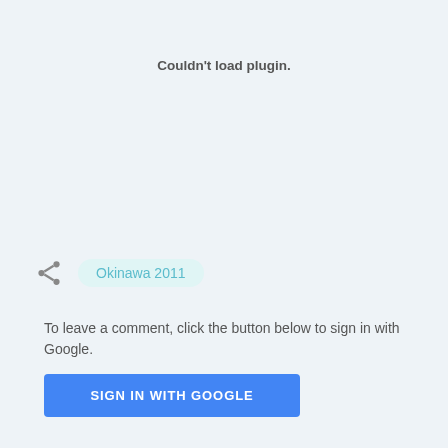Couldn't load plugin.
Okinawa 2011
To leave a comment, click the button below to sign in with Google.
SIGN IN WITH GOOGLE